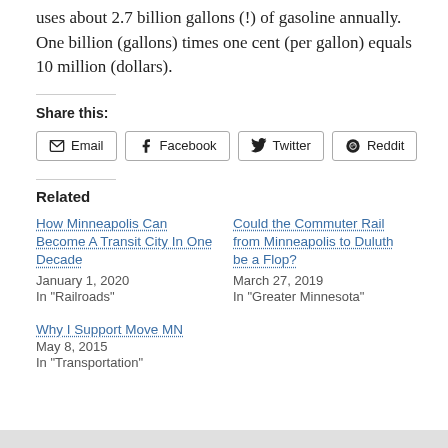uses about 2.7 billion gallons (!) of gasoline annually. One billion (gallons) times one cent (per gallon) equals 10 million (dollars).
Share this:
Email | Facebook | Twitter | Reddit
Related
How Minneapolis Can Become A Transit City In One Decade
January 1, 2020
In "Railroads"
Could the Commuter Rail from Minneapolis to Duluth be a Flop?
March 27, 2019
In "Greater Minnesota"
Why I Support Move MN
May 8, 2015
In "Transportation"